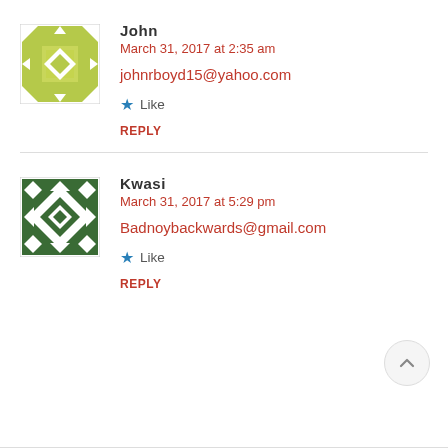[Figure (illustration): Avatar icon for user John — green and white geometric quilt pattern square]
John
March 31, 2017 at 2:35 am
johnrboyd15@yahoo.com
★ Like
REPLY
[Figure (illustration): Avatar icon for user Kwasi — dark green and white geometric diamond/cross pattern square]
Kwasi
March 31, 2017 at 5:29 pm
Badnoybackwards@gmail.com
★ Like
REPLY